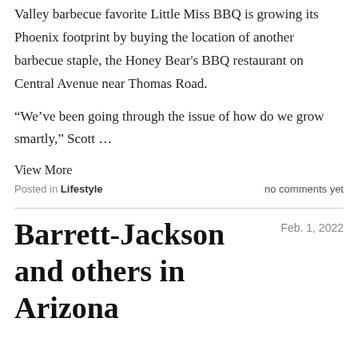Valley barbecue favorite Little Miss BBQ is growing its Phoenix footprint by buying the location of another barbecue staple, the Honey Bear's BBQ restaurant on Central Avenue near Thomas Road.
“We’ve been going through the issue of how do we grow smartly,” Scott …
View More
Posted in Lifestyle    no comments yet
Barrett-Jackson and others in Arizona
Feb. 1, 2022